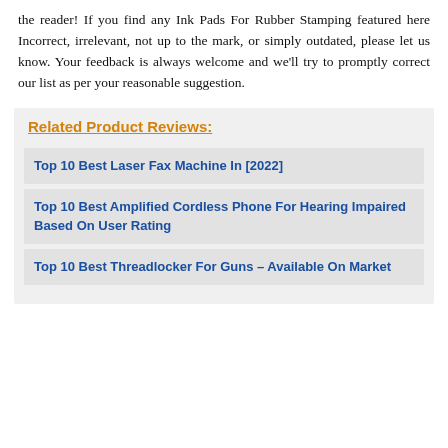the reader! If you find any Ink Pads For Rubber Stamping featured here Incorrect, irrelevant, not up to the mark, or simply outdated, please let us know. Your feedback is always welcome and we'll try to promptly correct our list as per your reasonable suggestion.
Related Product Reviews:
Top 10 Best Laser Fax Machine In [2022]
Top 10 Best Amplified Cordless Phone For Hearing Impaired Based On User Rating
Top 10 Best Threadlocker For Guns – Available On Market